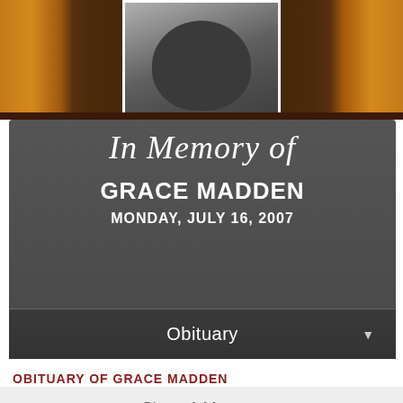[Figure (photo): Black and white portrait photograph of Grace Madden, partially visible, framed in white against an amber/gold decorative background]
In Memory of
GRACE MADDEN
MONDAY, JULY 16, 2007
Obituary
OBITUARY OF GRACE MADDEN
Share A Memory